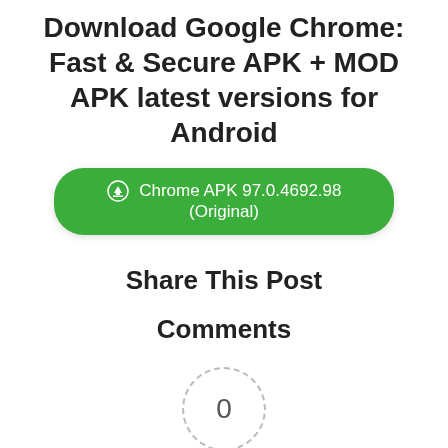Download Google Chrome: Fast & Secure APK + MOD APK latest versions for Android
Chrome APK 97.0.4692.98 (Original)
Share This Post
Comments
[Figure (other): Article rating widget showing a dashed circle with '0' in the center, flanked by two dashes, with 'Article Rating' label below and five empty gray stars beneath]